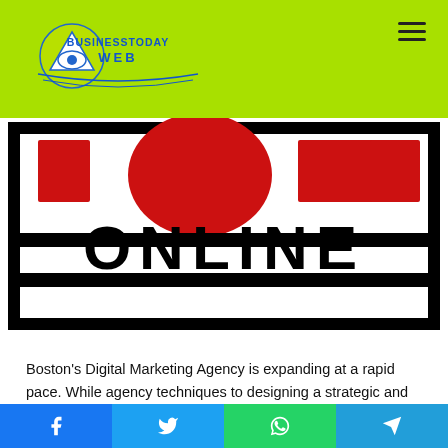BusinessTodayWeb
[Figure (illustration): Banner image showing 'TOOL ONLINE' text in large bold black letters with red and black graphic elements on a white background]
Boston's Digital Marketing Agency is expanding at a rapid pace. While agency techniques to designing a strategic and innovative process have developed, many of the fundamentals have remained the same, particularly in the digital realm. For example, it's critical to define the firm priorities, the target demographic, and what exactly can be communicated to the strategic team before deciding on a strategy and afterward forming a cohesive brief for a design team to write a campaign around it. The answer to that question is contingent on the
Facebook | Twitter | WhatsApp | Telegram